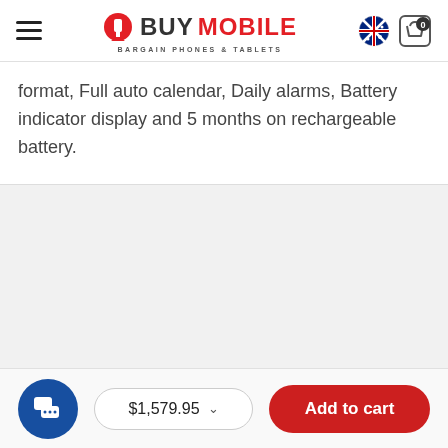BuyMobile - Bargain Phones & Tablets
format, Full auto calendar, Daily alarms, Battery indicator display and 5 months on rechargeable battery.
[Figure (other): Empty gray content area below product description]
$1,579.95  Add to cart